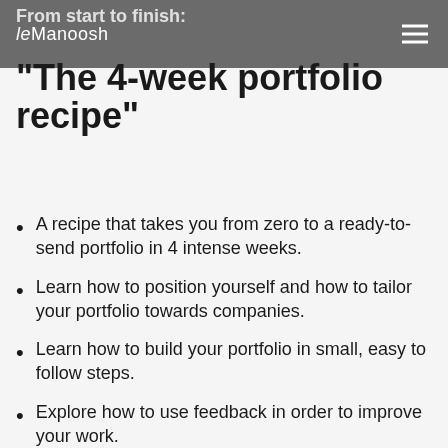leManoosh
From start to finish: "The 4-week portfolio recipe"
A recipe that takes you from zero to a ready-to-send portfolio in 4 intense weeks.
Learn how to position yourself and how to tailor your portfolio towards companies.
Learn how to build your portfolio in small, easy to follow steps.
Explore how to use feedback in order to improve your work.